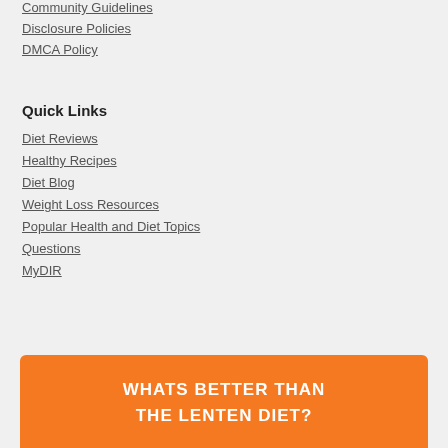Community Guidelines
Disclosure Policies
DMCA Policy
Quick Links
Diet Reviews
Healthy Recipes
Diet Blog
Weight Loss Resources
Popular Health and Diet Topics
Questions
MyDIR
WHATS BETTER THAN THE LENTEN DIET?